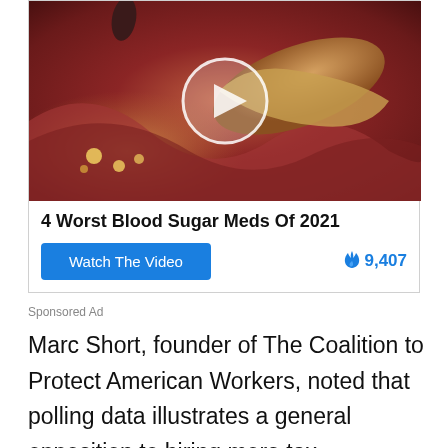[Figure (screenshot): Sponsored ad showing a medical/anatomical video thumbnail of intestines or internal organs with a play button overlay circle, titled '4 Worst Blood Sugar Meds Of 2021'. Includes a blue 'Watch The Video' button and a fire icon with count '9,407'.]
Sponsored Ad
Marc Short, founder of The Coalition to Protect American Workers, noted that polling data illustrates a general opposition to hiring more tax collectors. He called this element of the plan